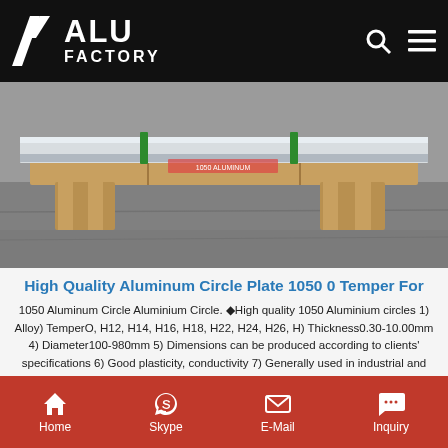ALU FACTORY
[Figure (photo): Aluminum circle plates on a wooden pallet on a concrete floor, wrapped with green straps]
High Quality Aluminum Circle Plate 1050 0 Temper For
1050 Aluminum Circle Aluminium Circle. ♦High quality 1050 Aluminium circles 1) Alloy) TemperO, H12, H14, H16, H18, H22, H24, H26, H) Thickness0.30-10.00mm 4) Diameter100-980mm 5) Dimensions can be produced according to clients' specifications 6) Good plasticity, conductivity 7) Generally used in industrial and construction applications 1050 Aluminum Circle/Disc
Get Price
Home  Skype  E-Mail  Inquiry